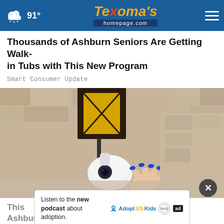91° | Texoma's homepage.com
Thousands of Ashburn Seniors Are Getting Walk-in Tubs with This New Program
Smart Consumer Update
[Figure (photo): A white dome security camera mounted near a wall lamp, with a hand with blue painted nails reaching up to adjust it. Stone/stucco wall texture visible in background. A metal cage light fixture is mounted above.]
× (close button)
Listen to the new podcast about adoption. Adopt US Kids (ad)
This Ashburn Now!